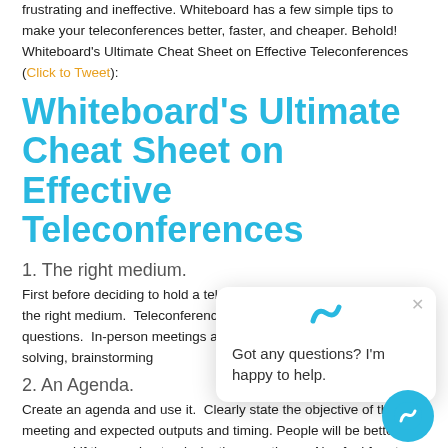frustrating and ineffective. Whiteboard has a few simple tips to make your teleconferences better, faster, and cheaper. Behold! Whiteboard's Ultimate Cheat Sheet on Effective Teleconferences (Click to Tweet):
Whiteboard's Ultimate Cheat Sheet on Effective Teleconferences
1. The right medium.
First before deciding to hold a teleconference, ensure that it will be the right medium.  Teleconferences are best for updates and questions.  In-person meetings are best for complex problem solving, brainstorming
2. An Agenda.
Create an agenda and use it.  Clearly state the objective of the meeting and expected outputs and timing. People will be better prepared if they understand why they are there.  Also feel free to place some tips for participants in the agenda (particularly #3).